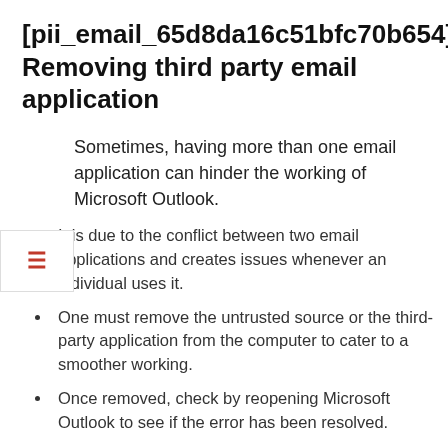[pii_email_65d8da16c51bfc70b654]: Removing third party email application
Sometimes, having more than one email application can hinder the working of Microsoft Outlook.
It is due to the conflict between two email applications and creates issues whenever an individual uses it.
One must remove the untrusted source or the third-party application from the computer to cater to a smoother working.
Once removed, check by reopening Microsoft Outlook to see if the error has been resolved.
Different reasons may contribute to a similar error in different user's working gadgets. The best is to use workable and small methods to check for error at the